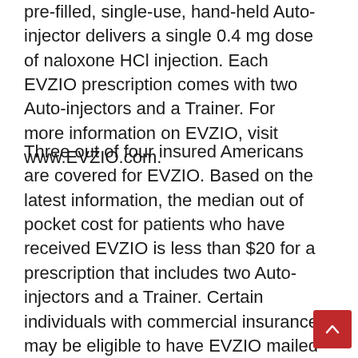pre-filled, single-use, hand-held Auto-injector delivers a single 0.4 mg dose of naloxone HCl injection. Each EVZIO prescription comes with two Auto-injectors and a Trainer. For more information on EVZIO, visit www.EVZIO.com.
Three out of four insured Americans are covered for EVZIO. Based on the latest information, the median out of pocket cost for patients who have received EVZIO is less than $20 for a prescription that includes two Auto-injectors and a Trainer. Certain individuals with commercial insurance may be eligible to have EVZIO mailed directly to their home for a $0 copay. EVZIO is also covered broadly by government insurance plans including the U.S. Veterans Administration, Tricare and the